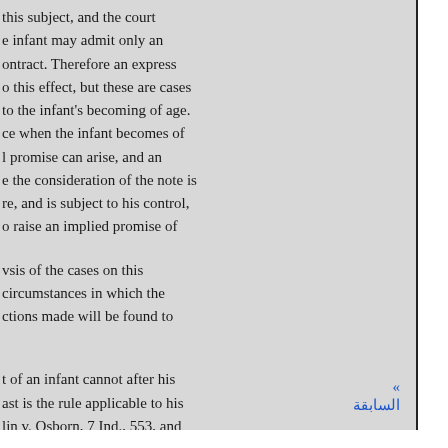this subject, and the court e infant may admit only an ontract. Therefore an express o this effect, but these are cases to the infant's becoming of age. ce when the infant becomes of l promise can arise, and an e the consideration of the note is re, and is subject to his control, o raise an implied promise of
vsis of the cases on this circumstances in which the ctions made will be found to
t of an infant cannot after his ast is the rule applicable to his lin v. Osborn, 7 Ind., 553, and d to, abundantly sustain the
» السابقة